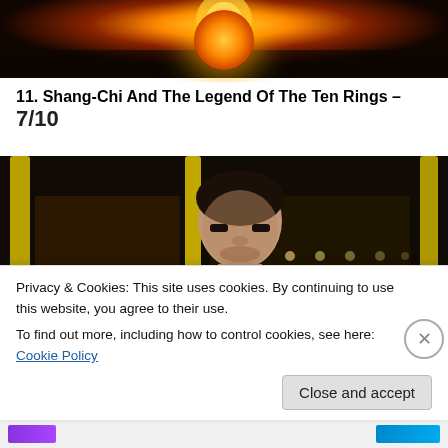[Figure (photo): Partial movie poster with glowing orange/gold orb or ring against dark background with sparks]
11. Shang-Chi And The Legend Of The Ten Rings – 7/10
[Figure (photo): Movie still from Shang-Chi showing lead actor in a red jacket on a bus, poised in a fighting stance, with yellow bus poles visible and blurred city lights in the background]
Privacy & Cookies: This site uses cookies. By continuing to use this website, you agree to their use.
To find out more, including how to control cookies, see here: Cookie Policy
Close and accept